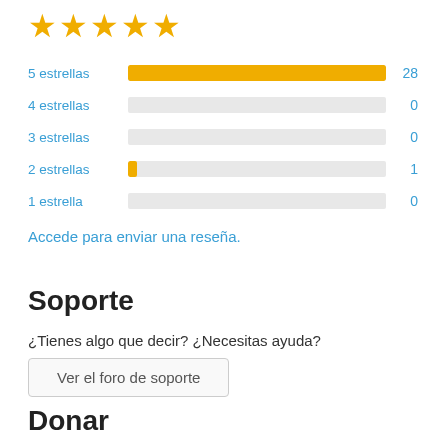[Figure (other): Five gold star rating icons]
[Figure (bar-chart): Rating distribution]
Accede para enviar una reseña.
Soporte
¿Tienes algo que decir? ¿Necesitas ayuda?
Ver el foro de soporte
Donar
¿Te gustaría apoyar el progreso de este plugin?